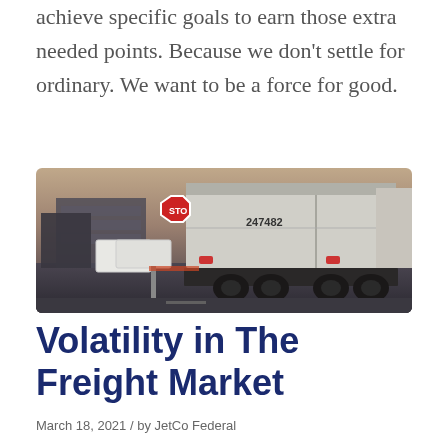achieve specific goals to earn those extra needed points. Because we don't settle for ordinary. We want to be a force for good.
[Figure (photo): Rear view of a large semi-truck trailer with number 247482, stopped at what appears to be a gate or checkpoint with a stop sign visible, photographed at dusk or dawn.]
Volatility in The Freight Market
March 18, 2021 / by JetCo Federal